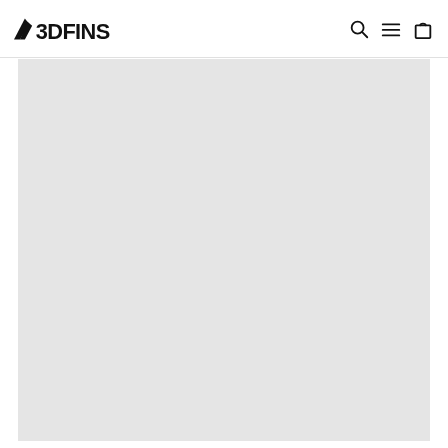3DFINS
[Figure (photo): Large light grey placeholder image area below the 3DFINS navigation header]